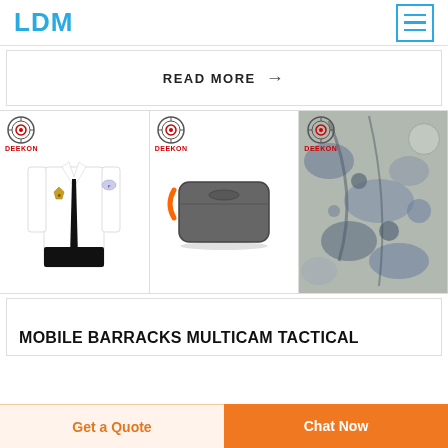LDM
READ MORE →
[Figure (photo): White security guard uniform shirt with black tie and badge, DEEKON brand logo top-left]
[Figure (photo): Gray portable camping mess tin/lunch box with orange handle, DEEKON brand logo top-left]
[Figure (photo): Camouflage fabric (multicam/ACU pattern) with circular DEEKON logo top-left]
MOBILE BARRACKS MULTICAM TACTICAL
Get a Quote
Chat Now